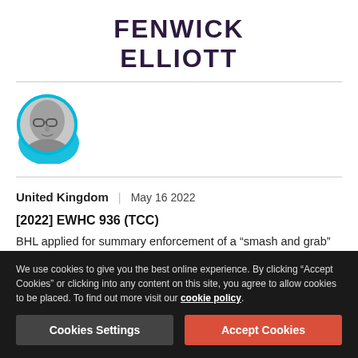FENWICK ELLIOTT
[Figure (photo): Circular black and white headshot photo of a man wearing glasses, with a cyan/teal decorative background shape behind the circle.]
United Kingdom | May 16 2022
[2022] EWHC 936 (TCC)
BHL applied for summary enforcement of a “smash and grab” adjudication decision for just over £700k in relation to Interim Payment Application 23. ESG sought to rely on an earlier “true
We use cookies to give you the best online experience. By clicking “Accept Cookies” or clicking into any content on this site, you agree to allow cookies to be placed. To find out more visit our cookie policy.